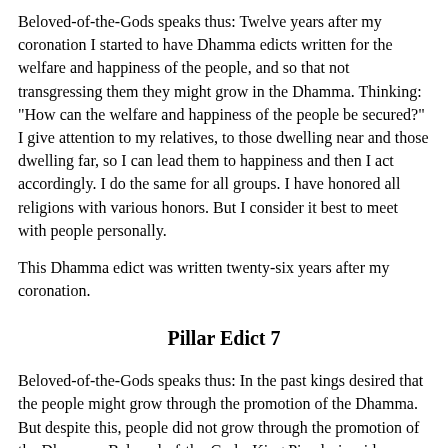Beloved-of-the-Gods speaks thus: Twelve years after my coronation I started to have Dhamma edicts written for the welfare and happiness of the people, and so that not transgressing them they might grow in the Dhamma. Thinking: "How can the welfare and happiness of the people be secured?" I give attention to my relatives, to those dwelling near and those dwelling far, so I can lead them to happiness and then I act accordingly. I do the same for all groups. I have honored all religions with various honors. But I consider it best to meet with people personally.
This Dhamma edict was written twenty-six years after my coronation.
Pillar Edict 7
Beloved-of-the-Gods speaks thus: In the past kings desired that the people might grow through the promotion of the Dhamma. But despite this, people did not grow through the promotion of the Dhamma. Beloved-of-the-Gods, King Piyadasi, said concerning this: "It occurs to me that in the past kings desired that the people might grow through the promotion of the Dhamma. But despite this, people did not grow through the promotion of the Dhamma. Now how can the people be encouraged to follow it? How can the